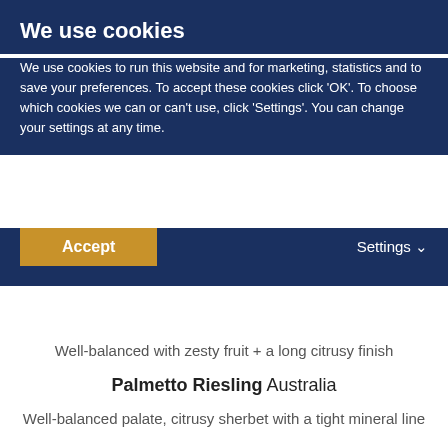We use cookies
We use cookies to run this website and for marketing, statistics and to save your preferences. To accept these cookies click 'OK'. To choose which cookies we can or can't use, click 'Settings'. You can change your settings at any time.
Accept
Settings
Well-balanced with zesty fruit + a long citrusy finish
Palmetto Riesling Australia
Well-balanced palate, citrusy sherbet with a tight mineral line
Pinot Grigio Charles Smith Vino USA